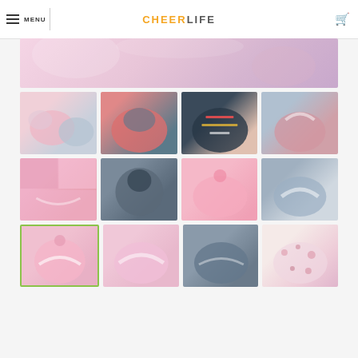MENU | CHEERLIFE
[Figure (photo): Banner image showing cosmetic bag products on a pink/purple gradient background]
[Figure (photo): Grid of 12 product thumbnail photos showing various drawstring cosmetic/makeup bags in pink, grey, and patterned styles. Bottom-left thumbnail (row 3, col 1) is selected with a green border.]